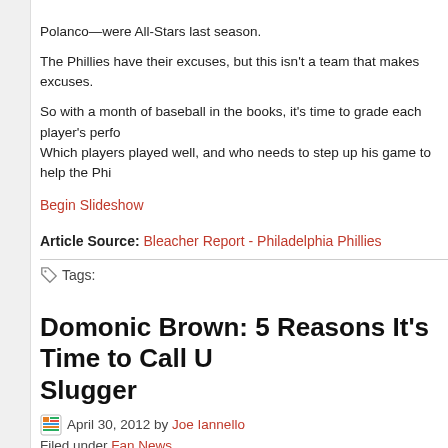Polanco—were All-Stars last season.
The Phillies have their excuses, but this isn't a team that makes excuses.
So with a month of baseball in the books, it's time to grade each player's perfo... Which players played well, and who needs to step up his game to help the Phi...
Begin Slideshow
Article Source: Bleacher Report - Philadelphia Phillies
Tags:
Domonic Brown: 5 Reasons It's Time to Call U... Slugger
April 30, 2012 by Joe Iannello
Filed under Fan News
The Philadelphia Phillies arrived back home after a lengthy West Coast trip, bu... bats in Arizona. The Phillies were again ineffective at the plate for Roy Hallada... their record to .500 for the first time this season.
When do the Phillies turn to offense? Collins t...